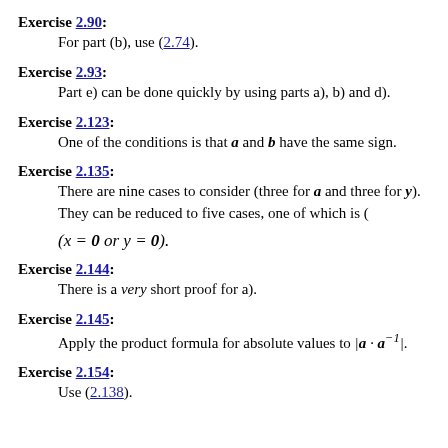Exercise 2.90:
For part (b), use (2.74).
Exercise 2.93:
Part e) can be done quickly by using parts a), b) and d).
Exercise 2.123:
One of the conditions is that a and b have the same sign.
Exercise 2.135:
There are nine cases to consider (three for a and three for y). They can be reduced to five cases, one of which is (
Exercise 2.144:
There is a very short proof for a).
Exercise 2.145:
Apply the product formula for absolute values to |a · a⁻¹|.
Exercise 2.154:
Use (2.138).